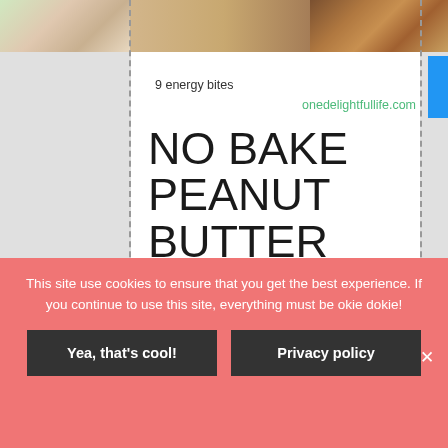[Figure (photo): Top banner strip showing food photos — colorful snack bars on left, chocolate energy bites on right]
9 energy bites
onedelightfullife.com
NO BAKE PEANUT BUTTER CHOCOLATE ENERGY BITES
This site use cookies to ensure that you get the best experience. If you continue to use this site, everything must be okie dokie!
Yea, that's cool!
Privacy policy